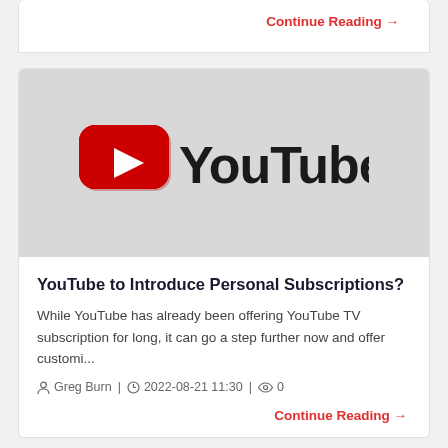Continue Reading →
[Figure (logo): YouTube logo: red play button icon with white triangle, followed by 'YouTube' in black bold text, on a light gray background]
YouTube to Introduce Personal Subscriptions?
While YouTube has already been offering YouTube TV subscription for long, it can go a step further now and offer customi...
Greg Burn | 2022-08-21 11:30 | 0
Continue Reading →